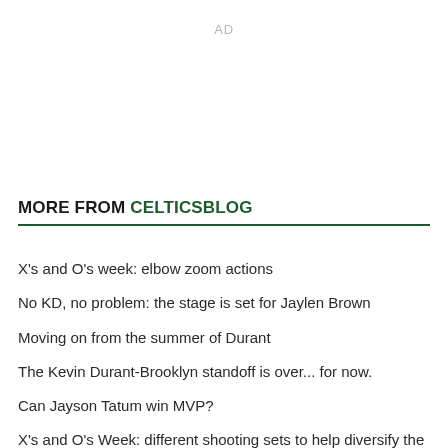AD
MORE FROM CELTICSBLOG
X's and O's week: elbow zoom actions
No KD, no problem: the stage is set for Jaylen Brown
Moving on from the summer of Durant
The Kevin Durant-Brooklyn standoff is over... for now.
Can Jayson Tatum win MVP?
X's and O's Week: different shooting sets to help diversify the Celtics' offense